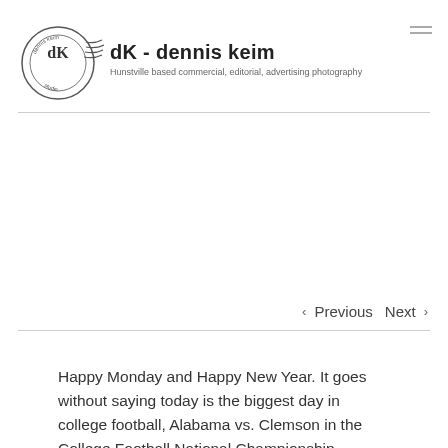dK - dennis keim
Hunstville based commercial, editorial, advertising photography
‹ Previous   Next ›
Happy Monday and Happy New Year. It goes without saying today is the biggest day in college football, Alabama vs. Clemson in the College Football National Championship